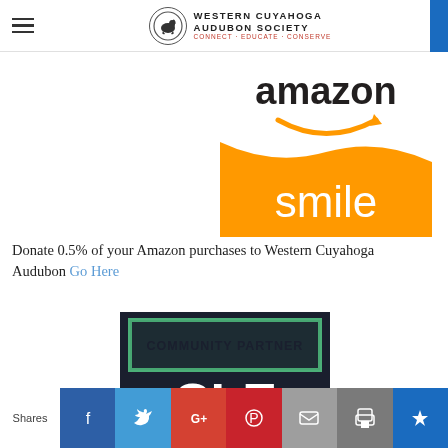Western Cuyahoga Audubon Society — Connect · Educate · Conserve
[Figure (logo): Amazon Smile logo — white top with 'amazon' text and orange arrow, orange bottom half with white 'smile' text]
Donate 0.5% of your Amazon purchases to Western Cuyahoga Audubon Go Here
[Figure (logo): Community Partner badge — dark background with green border, 'COMMUNITY PARTNER' text, and large 'CLE' letters]
Shares | Facebook | Twitter | Google+ | Pinterest | Email | Print | SU